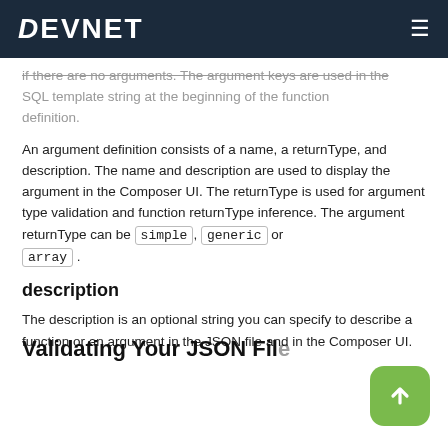DEVNET
if there are no arguments. The argument keys are used in the SQL template string at the beginning of the function definition.
An argument definition consists of a name, a returnType, and description. The name and description are used to display the argument in the Composer UI. The returnType is used for argument type validation and function returnType inference. The argument returnType can be simple, generic or array.
description
The description is an optional string you can specify to describe a function or an argument in the JSON file and in the Composer UI.
Validating Your JSON Fil…